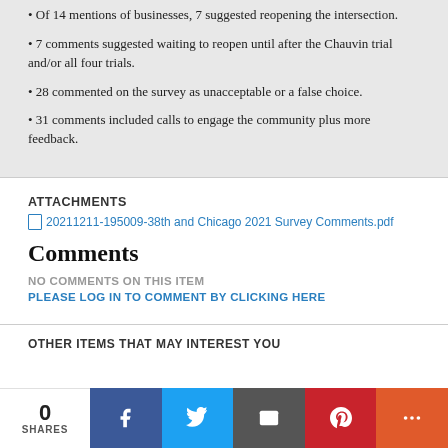• Of 14 mentions of businesses, 7 suggested reopening the intersection.
• 7 comments suggested waiting to reopen until after the Chauvin trial and/or all four trials.
• 28 commented on the survey as unacceptable or a false choice.
• 31 comments included calls to engage the community plus more feedback.
ATTACHMENTS
20211211-195009-38th and Chicago 2021 Survey Comments.pdf
Comments
NO COMMENTS ON THIS ITEM   PLEASE LOG IN TO COMMENT BY CLICKING HERE
OTHER ITEMS THAT MAY INTEREST YOU